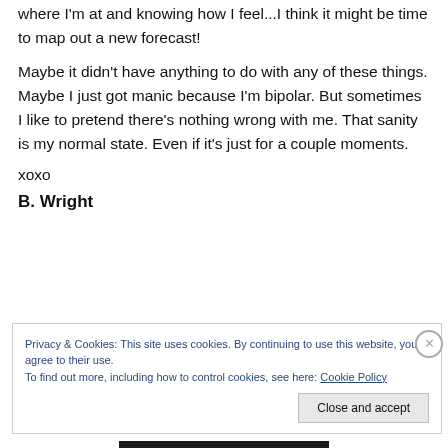where I'm at and knowing how I feel...I think it might be time to map out a new forecast!
Maybe it didn't have anything to do with any of these things. Maybe I just got manic because I'm bipolar. But sometimes I like to pretend there's nothing wrong with me. That sanity is my normal state. Even if it's just for a couple moments.
xoxo
B. Wright
Privacy & Cookies: This site uses cookies. By continuing to use this website, you agree to their use.
To find out more, including how to control cookies, see here: Cookie Policy